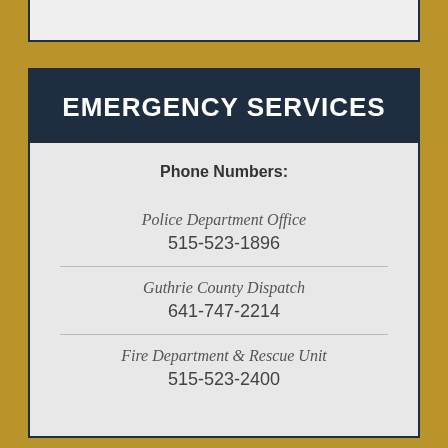EMERGENCY SERVICES
Phone Numbers:
Police Department Office
515-523-1896
Guthrie County Dispatch
641-747-2214
Fire Department & Rescue Unit
515-523-2400